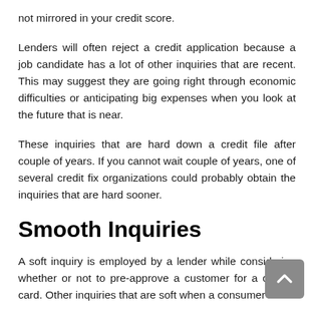not mirrored in your credit score.
Lenders will often reject a credit application because a job candidate has a lot of other inquiries that are recent. This may suggest they are going right through economic difficulties or anticipating big expenses when you look at the future that is near.
These inquiries that are hard down a credit file after couple of years. If you cannot wait couple of years, one of several credit fix organizations could probably obtain the inquiries that are hard sooner.
Smooth Inquiries
A soft inquiry is employed by a lender while considering whether or not to pre-approve a customer for a charge card. Other inquiries that are soft when a consumer's